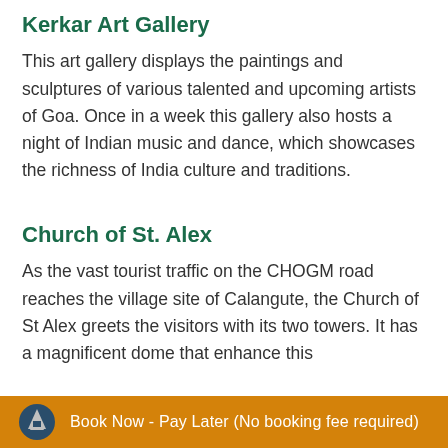Kerkar Art Gallery
This art gallery displays the paintings and sculptures of various talented and upcoming artists of Goa. Once in a week this gallery also hosts a night of Indian music and dance, which showcases the richness of India culture and traditions.
Church of St. Alex
As the vast tourist traffic on the CHOGM road reaches the village site of Calangute, the Church of St Alex greets the visitors with its two towers. It has a magnificent dome that enhance this
Book Now - Pay Later (No booking fee required)